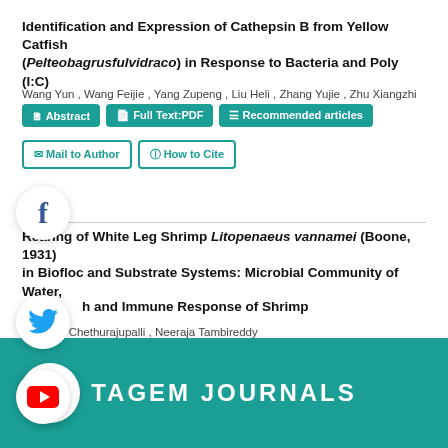Identification and Expression of Cathepsin B from Yellow Catfish (Pelteobagrusfulvidraco) in Response to Bacteria and Poly (I:C)
Wang Yun , Wang Feijie , Yang Zupeng , Liu Heli , Zhang Yujie , Zhu Xiangzhi
Abstract | Full Text:PDF | Recommended articles | Mail to Author | How to Cite
Rearing of White Leg Shrimp Litopenaeus vannamei (Boone, 1931) in Biofloc and Substrate Systems: Microbial Community of Water, h and Immune Response of Shrimp
Lavanya Chethurajupalli , Neeraja Tambireddy
Abstract | Full Text:PDF | Recommended articles | l to Author | How to Cite
TAGEM JOURNALS